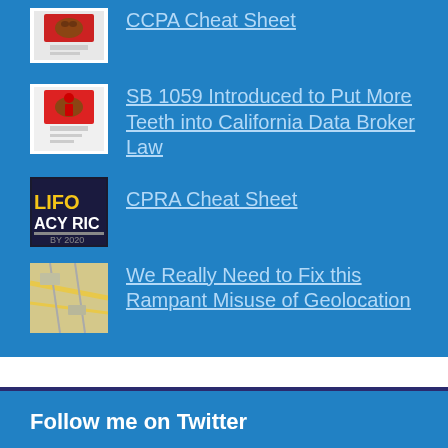CCPA Cheat Sheet
SB 1059 Introduced to Put More Teeth into California Data Broker Law
CPRA Cheat Sheet
We Really Need to Fix this Rampant Misuse of Geolocation
Follow me on Twitter
Tweets from @TomKemp00